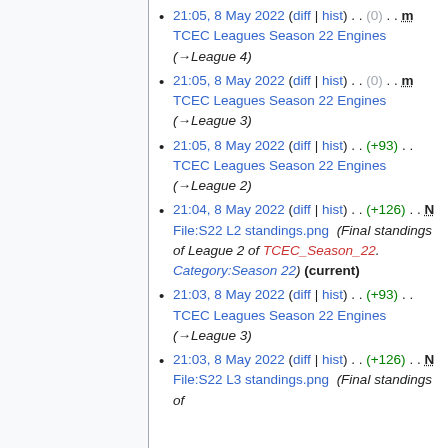21:05, 8 May 2022 (diff | hist) . . (0) . . m TCEC Leagues Season 22 Engines (→League 4)
21:05, 8 May 2022 (diff | hist) . . (0) . . m TCEC Leagues Season 22 Engines (→League 3)
21:05, 8 May 2022 (diff | hist) . . (+93) . . TCEC Leagues Season 22 Engines (→League 2)
21:04, 8 May 2022 (diff | hist) . . (+126) . . N File:S22 L2 standings.png (Final standings of League 2 of TCEC_Season_22. Category:Season 22) (current)
21:03, 8 May 2022 (diff | hist) . . (+93) . . TCEC Leagues Season 22 Engines (→League 3)
21:03, 8 May 2022 (diff | hist) . . (+126) . . N File:S22 L3 standings.png (Final standings of